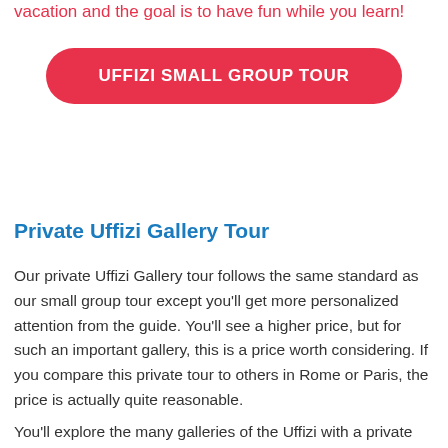vacation and the goal is to have fun while you learn!
UFFIZI SMALL GROUP TOUR
Private Uffizi Gallery Tour
Our private Uffizi Gallery tour follows the same standard as our small group tour except you'll get more personalized attention from the guide. You'll see a higher price, but for such an important gallery, this is a price worth considering. If you compare this private tour to others in Rome or Paris, the price is actually quite reasonable.
You'll explore the many galleries of the Uffizi with a private